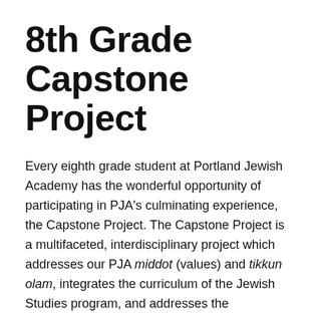8th Grade Capstone Project
Every eighth grade student at Portland Jewish Academy has the wonderful opportunity of participating in PJA's culminating experience, the Capstone Project. The Capstone Project is a multifaceted, interdisciplinary project which addresses our PJA middot (values) and tikkun olam, integrates the curriculum of the Jewish Studies program, and addresses the fundamental skills of the research process and academic writing as taught by the Humanities department. Capstone requires students to design, implement and facilitate a service project. These service projects, which will have a grounding in the historical and